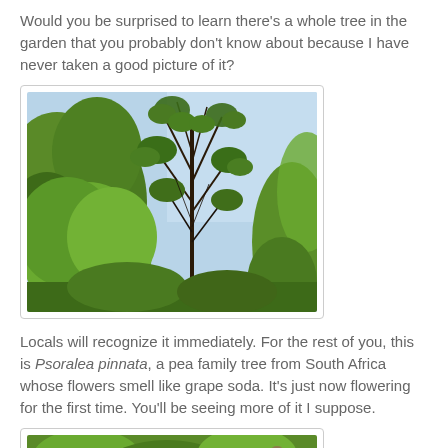Would you be surprised to learn there's a whole tree in the garden that you probably don't know about because I have never taken a good picture of it?
[Figure (photo): Photo of a tree with dense green foliage and branches against a light blue sky, with large leafy plants in the foreground.]
Locals will recognize it immediately. For the rest of you, this is Psoralea pinnata, a pea family tree from South Africa whose flowers smell like grape soda. It's just now flowering for the first time. You'll be seeing more of it I suppose.
[Figure (photo): Partial photo at the bottom showing green garden plants, cropped at page edge.]